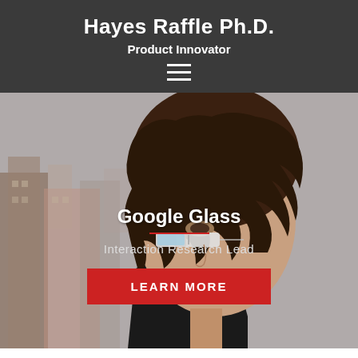Hayes Raffle Ph.D.
Product Innovator
[Figure (other): Hamburger menu icon with three horizontal white lines on dark background]
[Figure (photo): A woman wearing Google Glass smart eyewear, with a blurred urban cityscape background. Overlaid text reads Google Glass, Interaction Research Lead, and a red LEARN MORE button.]
Google Glass
Interaction Research Lead
LEARN MORE